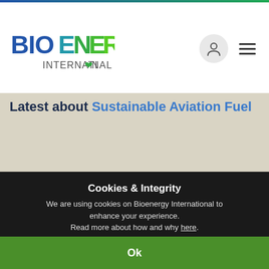[Figure (logo): Bioenergy International logo with blue and green gradient text]
Latest about Sustainable Aviation Fuel
Cookies & Integrity
We are using cookies on Bioenergy International to enhance your experience.
Read more about how and why here.
Ok